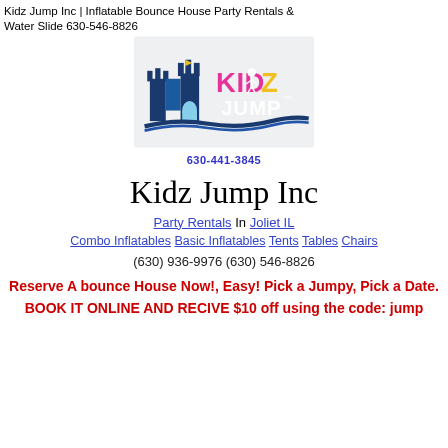Kidz Jump Inc | Inflatable Bounce House Party Rentals & Water Slide 630-546-8826
[Figure (logo): Kidz Jump Inc logo with inflatable castle and colorful KIDZ JUMP text]
630-441-3845
Kidz Jump Inc
Party Rentals In Joliet IL
Combo Inflatables Basic Inflatables Tents Tables Chairs
(630) 936-9976 (630) 546-8826
Reserve A bounce House Now!, Easy! Pick a Jumpy, Pick a Date.
BOOK IT ONLINE AND RECIVE $10 off using the code: jump